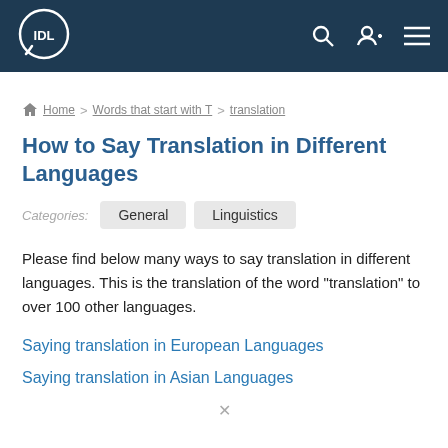IDL logo and navigation header
Home > Words that start with T > translation
How to Say Translation in Different Languages
Categories: General Linguistics
Please find below many ways to say translation in different languages. This is the translation of the word "translation" to over 100 other languages.
Saying translation in European Languages
Saying translation in Asian Languages